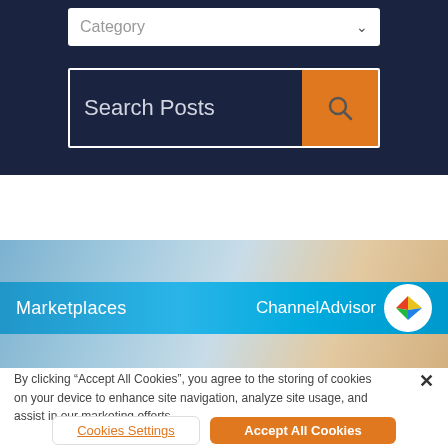[Figure (screenshot): Category dropdown selector with navy background]
[Figure (screenshot): Search Posts input bar with orange search button on navy background]
[Figure (screenshot): Marketplaces banner image with blue stripe showing ChannelAdvisor logo]
By clicking “Accept All Cookies”, you agree to the storing of cookies on your device to enhance site navigation, analyze site usage, and assist in our marketing efforts.
Cookies Settings
Accept All Cookies